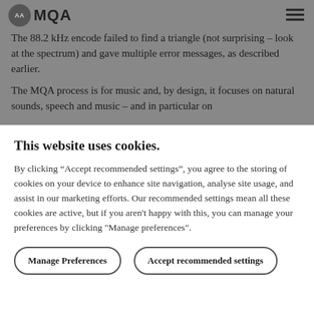AA MQA
The 88.2 kHz encode failed to find a triangle (not surprising – look at the spectrum) and gave multiple error messages, as described earlier.
The MQA process is for music and, by design, it focuses on natural sounds, speech and music – and in particular on
This website uses cookies.
By clicking “Accept recommended settings”, you agree to the storing of cookies on your device to enhance site navigation, analyse site usage, and assist in our marketing efforts. Our recommended settings mean all these cookies are active, but if you aren't happy with this, you can manage your preferences by clicking "Manage preferences".
Manage Preferences | Accept recommended settings